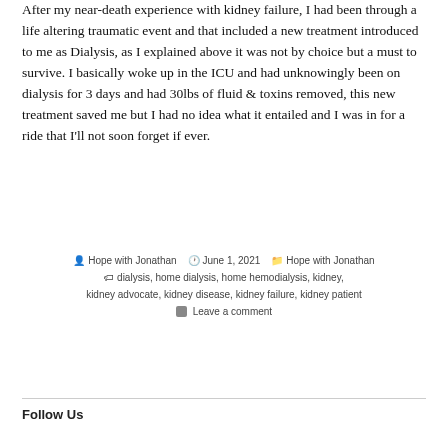After my near-death experience with kidney failure, I had been through a life altering traumatic event and that included a new treatment introduced to me as Dialysis, as I explained above it was not by choice but a must to survive. I basically woke up in the ICU and had unknowingly been on dialysis for 3 days and had 30lbs of fluid & toxins removed, this new treatment saved me but I had no idea what it entailed and I was in for a ride that I'll not soon forget if ever.
By Hope with Jonathan | June 1, 2021 | Hope with Jonathan | dialysis, home dialysis, home hemodialysis, kidney, kidney advocate, kidney disease, kidney failure, kidney patient | Leave a comment
Follow Us